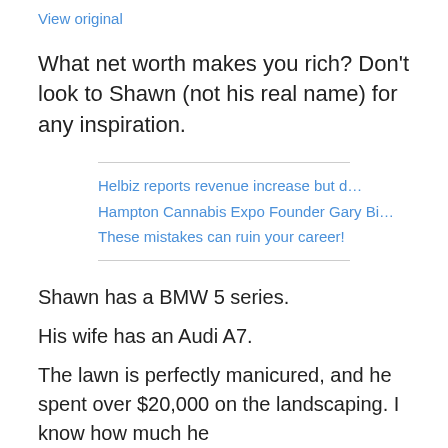View original
What net worth makes you rich? Don't look to Shawn (not his real name) for any inspiration.
Helbiz reports revenue increase but d…
Hampton Cannabis Expo Founder Gary Bi…
These mistakes can ruin your career!
Shawn has a BMW 5 series.
His wife has an Audi A7.
The lawn is perfectly manicured, and he spent over $20,000 on the landscaping. I know how much he